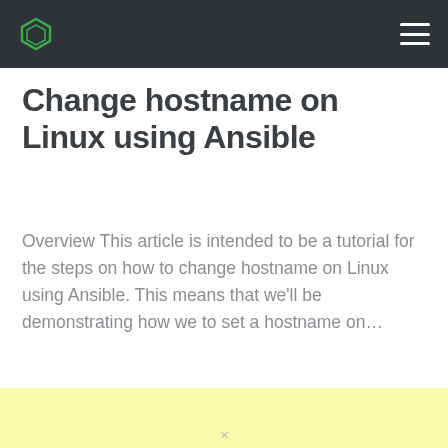Change hostname on Linux using Ansible
Change hostname on Linux using Ansible
Overview This article is intended to be a tutorial for the steps on how to change hostname on Linux using Ansible. This means that we'll be demonstrating how we to set a hostname on...
[Figure (other): Yellow advertisement/banner block]